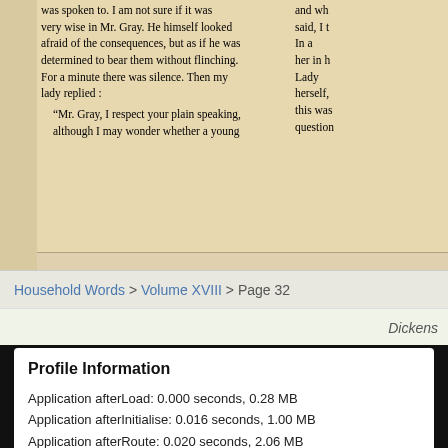[Figure (screenshot): Scanned page from Household Words publication showing two columns of text in an old serif font. Left column reads: 'was spoken to. I am not sure if it was very wise in Mr. Gray. He himself looked afraid of the consequences, but as if he was determined to bear them without flinching. For a minute there was silence. Then my lady replied: "Mr. Gray, I respect your plain speaking, although I may wonder whether a young man of your age and position has a right...' Right column continues: 'and wh... said, I t... In a... her in h... Lady... herself,... this was... question...']
Household Words > Volume XVIII > Page 32
Dickens
Profile Information
Application afterLoad: 0.000 seconds, 0.28 MB
Application afterInitialise: 0.016 seconds, 1.00 MB
Application afterRoute: 0.020 seconds, 2.06 MB
Application afterDispatch: 0.085 seconds, 3.65 MB
Application afterRender: 0.124 seconds, 3.99 MB